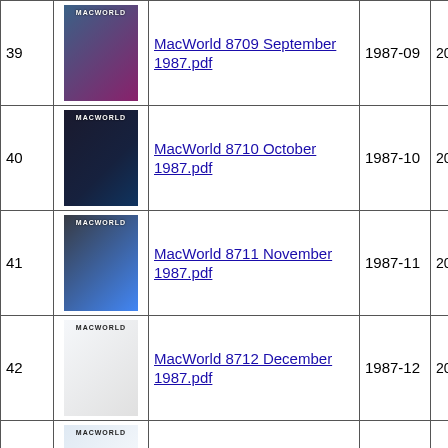| # | Cover | Title | Date | Updated |
| --- | --- | --- | --- | --- |
| 39 | [cover] | MacWorld 8709 September 1987.pdf | 1987-09 | 2016-03-06 |
| 40 | [cover] | MacWorld 8710 October 1987.pdf | 1987-10 | 2016-03-06 |
| 41 | [cover] | MacWorld 8711 November 1987.pdf | 1987-11 | 2016-03-06 |
| 42 | [cover] | MacWorld 8712 December 1987.pdf | 1987-12 | 2016-03-06 |
| 43 | [cover] | MacWorld 8801 January 1988.pdf | 1988-01 | 2016-03-06 |
| 44 | [cover] | MacWorld 8802 February 1988.pdf | 1988-02 | 2016-03-06 |
| 45 | [cover] | MacWorld 8803 March ... | 1988- |  |